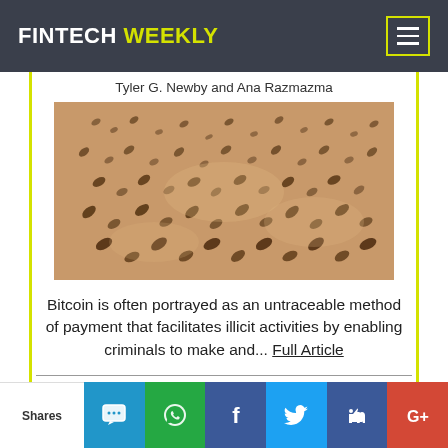FINTECH WEEKLY
Tyler G. Newby and Ana Razmazma
[Figure (photo): Aerial photo of sand dunes or beach with scattered dark marks/footprints on light sandy surface]
Bitcoin is often portrayed as an untraceable method of payment that facilitates illicit activities by enabling criminals to make and... Full Article
Partnership with SOFORT -
Shares | SMS | WhatsApp | Facebook | Twitter | LinkedIn | Google+